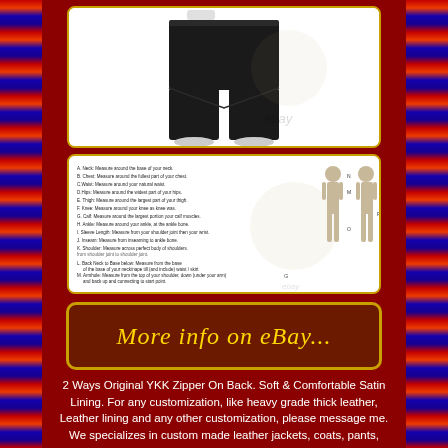[Figure (photo): Product photo showing black leather pants on a model/mannequin, white background, ebay watermark]
[Figure (infographic): Measurement guide diagram with labeled body measurement points A through R and two human figure silhouettes with measurement annotations]
[Figure (other): Clickable eBay link button with italic gold text reading More info on eBay... on dark red background with gold border]
2 Ways Original YKK Zipper On Back. Soft & Comfortable Satin Lining. For any customization, like heavy grade thick leather, Leather lining and any other customization, please message me. We specializes in custom made leather jackets, coats, pants, shirts, vests, trench coats, hoods and BDSM.